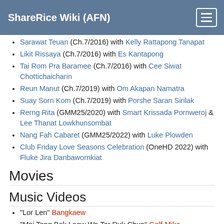ShareRice Wiki (AFN)
Sarawat Teuan (Ch.7/2016) with Kelly Rattapong Tanapat
Likit Rissaya (Ch.7/2016) with Es Kantapong
Tai Rom Pra Baramee (Ch.7/2016) with Cee Siwat Chottichaicharin
Reun Manut (Ch.7/2019) with Om Akapan Namatra
Suay Sorn Kom (Ch.7/2019) with Porshe Saran Sirilak
Rerng Rita (GMM25/2020) with Smart Krissada Pornweroj & Lee Thanat Lowkhunsombat
Nang Fah Cabaret (GMM25/2022) with Luke Plowden
Club Friday Love Seasons Celebration (OneHD 2022) with Fluke Jira Danbawornkiat
Movies
Music Videos
"Lor Len" Bangkaew
"Mai Tong Bok Laew Wa Ter Ruk Chun" Golf-Mike